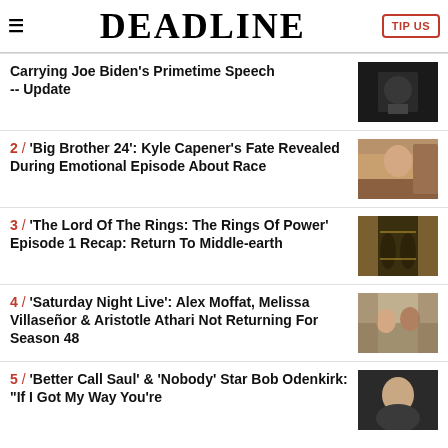DEADLINE | TIP US
Carrying Joe Biden's Primetime Speech -- Update
2 / 'Big Brother 24': Kyle Capener's Fate Revealed During Emotional Episode About Race
3 / 'The Lord Of The Rings: The Rings Of Power' Episode 1 Recap: Return To Middle-earth
4 / 'Saturday Night Live': Alex Moffat, Melissa Villaseñor & Aristotle Athari Not Returning For Season 48
5 / 'Better Call Saul' & 'Nobody' Star Bob Odenkirk: "If I Got My Way You're